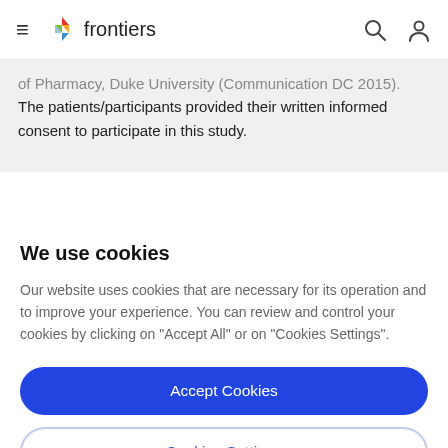frontiers
of Pharmacy, Duke University (Communication DC 2015). The patients/participants provided their written informed consent to participate in this study.
We use cookies
Our website uses cookies that are necessary for its operation and to improve your experience. You can review and control your cookies by clicking on "Accept All" or on "Cookies Settings".
Accept Cookies
Cookies Settings